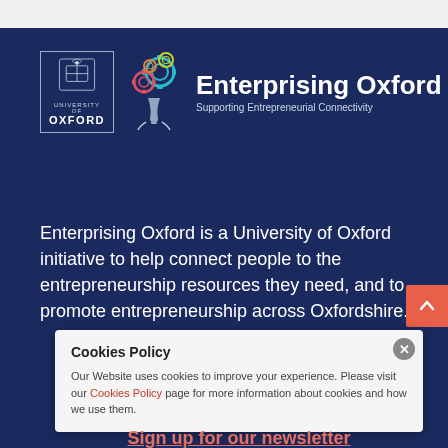[Figure (logo): University of Oxford and Enterprising Oxford logos side by side. Oxford badge with shield, text 'UNIVERSITY OF OXFORD'. Gear/lightbulb icon. Text 'Enterprising Oxford' with subtitle 'Supporting Entrepreneurial Connectivity'.]
Enterprising Oxford is a University of Oxford initiative to help connect people to the entrepreneurship resources they need, and to promote entrepreneurship across Oxfordshire.
Cookies Policy
Our Website uses cookies to improve your experience. Please visit our Cookies Policy page for more information about cookies and how we use them.
Sign up for our newsletter